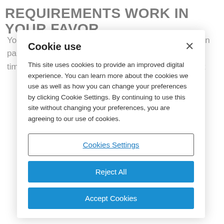REQUIREMENTS WORK IN YOUR FAVOR
You, as a manufacturer, can require your supply chain partners to read RFID tags at receiving – and every time an item changes hands, and this enables. This t…
Cookie use
This site uses cookies to provide an improved digital experience. You can learn more about the cookies we use as well as how you can change your preferences by clicking Cookie Settings. By continuing to use this site without changing your preferences, you are agreeing to our use of cookies.
Cookies Settings
Reject All
Accept Cookies